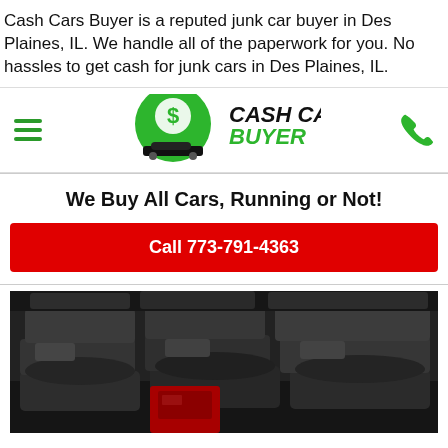Cash Cars Buyer is a reputed junk car buyer in Des Plaines, IL. We handle all of the paperwork for you. No hassles to get cash for junk cars in Des Plaines, IL.
[Figure (logo): Cash Cars Buyer logo: green circle with dollar sign and car silhouette, bold black and green text reading CASH CARS BUYER]
We Buy All Cars, Running or Not!
Call 773-791-4363
[Figure (photo): Black and white photo of stacked junk cars in a salvage yard, with one red car door visible in the foreground]